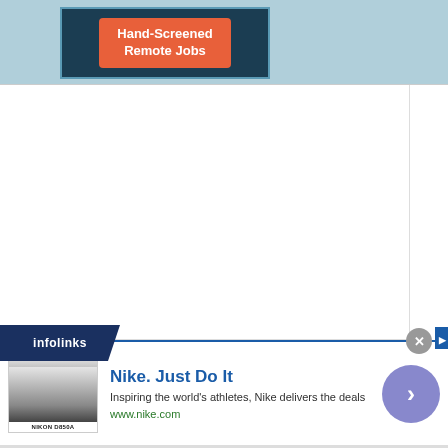[Figure (screenshot): Advertisement banner for hand-screened remote jobs with teal/dark blue background and orange button]
[Figure (screenshot): Large white empty content area]
[Figure (logo): Infolinks logo in dark blue banner]
[Figure (screenshot): Nike advertisement bar: 'Nike. Just Do It' with thumbnail image, description text, URL www.nike.com, close button, and blue circular next arrow button]